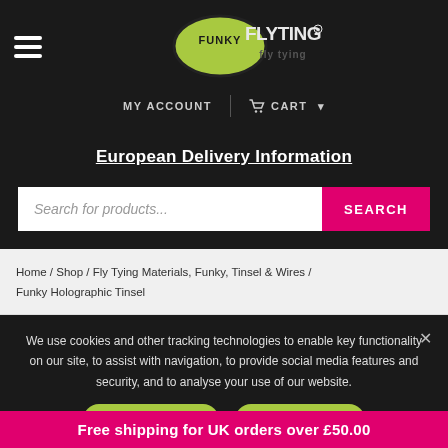[Figure (logo): Funky Fly Tying logo - green leaf shape with FUNKY text and FLYTYING in bold dark letters]
MY ACCOUNT | CART
European Delivery Information
Search for products...
Home / Shop / Fly Tying Materials, Funky, Tinsel & Wires / Funky Holographic Tinsel
We use cookies and other tracking technologies to enable key functionality on our site, to assist with navigation, to provide social media features and security, and to analyse your use of our website.
Free shipping for UK orders over £50.00